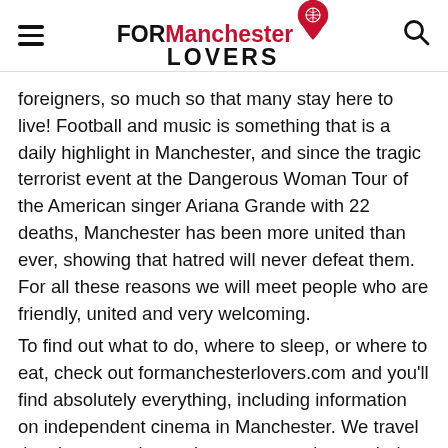FOR Manchester LOVERS [logo with map pin icon]
foreigners, so much so that many stay here to live! Football and music is something that is a daily highlight in Manchester, and since the tragic terrorist event at the Dangerous Woman Tour of the American singer Ariana Grande with 22 deaths, Manchester has been more united than ever, showing that hatred will never defeat them. For all these reasons we will meet people who are friendly, united and very welcoming.
To find out what to do, where to sleep, or where to eat, check out formanchesterlovers.com and you'll find absolutely everything, including information on independent cinema in Manchester. We travel the city every day and we see ourselves as being able to make you fall in love with our city - we're sure you'll be back! and we'll still be here, up to date, to keep you informed about